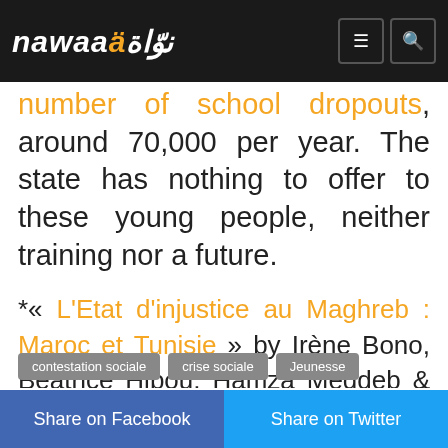nawaa (logo) — navigation icons
number of school dropouts, around 70,000 per year. The state has nothing to offer to these young people, neither training nor a future.
*« L'Etat d'injustice au Maghreb : Maroc et Tunisie » by Irène Bono, Béatrice Hibou, Hamza Meddeb & Mohamed Tozy, octobre 2015, éditions Karthala
Tags
contestation sociale   crise sociale   Jeunesse
Share on Facebook   Share on Twitter